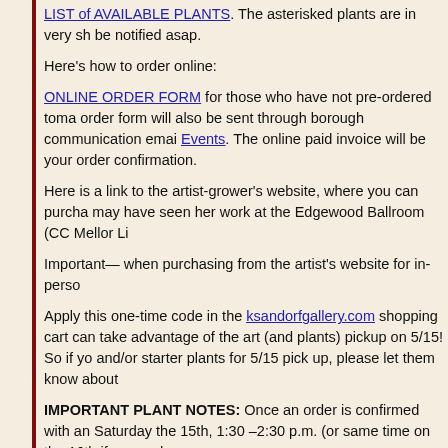LIST of AVAILABLE PLANTS. The asterisked plants are in very sh be notified asap.
Here's how to order online:
ONLINE ORDER FORM for those who have not pre-ordered toma order form will also be sent through borough communication emai Events. The online paid invoice will be your order confirmation.
Here is a link to the artist-grower's website, where you can purcha may have seen her work at the Edgewood Ballroom (CC Mellor Li
Important— when purchasing from the artist's website for in-perso
Apply this one-time code in the ksandorfgallery.com shopping cart can take advantage of the art (and plants) pickup on 5/15! So if yo and/or starter plants for 5/15 pick up, please let them know about
IMPORTANT PLANT NOTES: Once an order is confirmed with an Saturday the 15th, 1:30 –2:30 p.m. (or same time on the 16th if we garden.
For more information Contact: office@edgewoodboro.com
Plant Sale Pickup Schedules, and More Ph